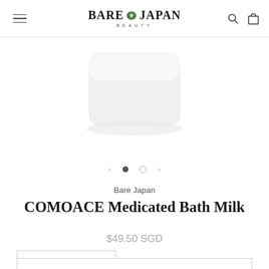BARE JAPAN BEAUTY
[Figure (photo): White cylindrical cosmetic jar/container (product photo) on white background]
Bare Japan
COMOACE Medicated Bath Milk
$49.50 SGD
1 (quantity selector with minus and plus buttons)